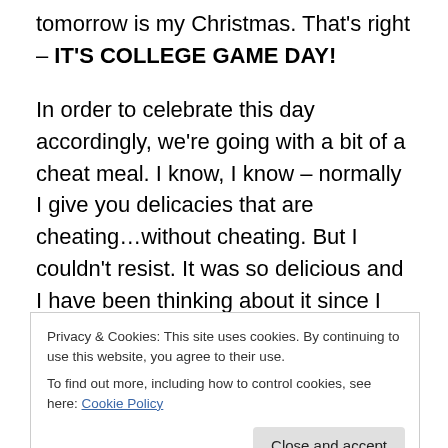tomorrow is my Christmas. That's right – IT'S COLLEGE GAME DAY!
In order to celebrate this day accordingly, we're going with a bit of a cheat meal. I know, I know – normally I give you delicacies that are cheating…without cheating. But I couldn't resist. It was so delicious and I have been thinking about it since I made it. So let's get down to it…
The burger itself is stuffed with blue cheese. I've thrown crumbles in the meat before, but this way there's just a yummy, salty, choosy center. Delicious by itself.
Privacy & Cookies: This site uses cookies. By continuing to use this website, you agree to their use.
To find out more, including how to control cookies, see here: Cookie Policy
Then, you add the cheese. I just threw a slice on there